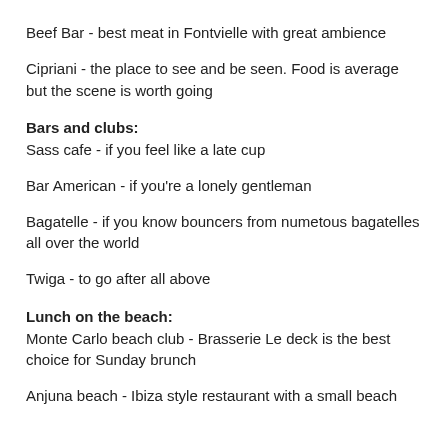Beef Bar - best meat in Fontvielle with great ambience
Cipriani - the place to see and be seen. Food is average but the scene is worth going
Bars and clubs:
Sass cafe - if you feel like a late cup
Bar American - if you're a lonely gentleman
Bagatelle - if you know bouncers from numetous bagatelles all over the world
Twiga - to go after all above
Lunch on the beach:
Monte Carlo beach club - Brasserie Le deck is the best choice for Sunday brunch
Anjuna beach - Ibiza style restaurant with a small beach